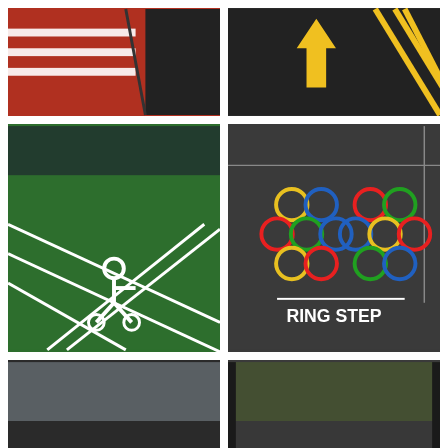[Figure (photo): Red road surface with white diagonal/horizontal stripes painted on tarmac]
[Figure (photo): Dark road with yellow direction arrow markings and barriers]
[Figure (photo): Indoor green floor with white grid diamond lines and wheelchair symbol painted on it, seen from above]
[Figure (photo): Dark asphalt playground with colourful Olympic-style rings painted in rows, labelled RING STEP]
[Figure (photo): Dark car park tarmac with yellow hatching, white rectangles and EXIT text]
[Figure (photo): Playground with white oval running track lines painted on dark tarmac, viewed through glass doors]